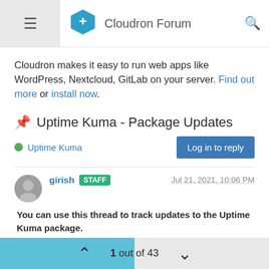Cloudron Forum
Cloudron makes it easy to run web apps like WordPress, Nextcloud, GitLab on your server. Find out more or install now.
📌 Uptime Kuma - Package Updates
Uptime Kuma
girish STAFF  Jul 21, 2021, 10:06 PM
You can use this thread to track updates to the Uptime Kuma package.

Please open issues in a separate topic instead of replying here.
1 out of 43